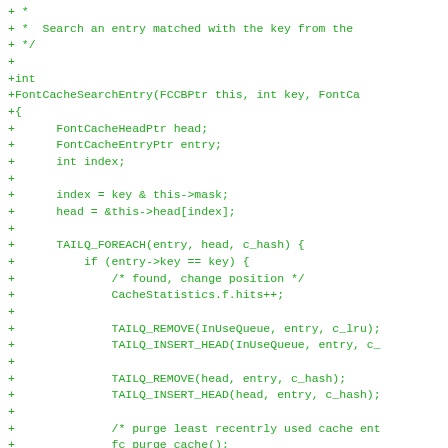+ *
+ *  Search an entry matched with the key from the
+ */
+
+int
+FontCacheSearchEntry(FCCBPtr this, int key, FontCa
+{
+      FontCacheHeadPtr head;
+      FontCacheEntryPtr entry;
+      int index;
+
+      index = key & this->mask;
+      head = &this->head[index];
+
+      TAILQ_FOREACH(entry, head, c_hash) {
+          if (entry->key == key) {
+              /* found, change position */
+              CacheStatistics.f.hits++;
+
+              TAILQ_REMOVE(InUseQueue, entry, c_lru);
+              TAILQ_INSERT_HEAD(InUseQueue, entry, c_
+
+              TAILQ_REMOVE(head, entry, c_hash);
+              TAILQ_INSERT_HEAD(head, entry, c_hash);
+
+              /* purge least recentrly used cache ent
+              fc_purge_cache();
+
+              *value = entry;
+              return 1;